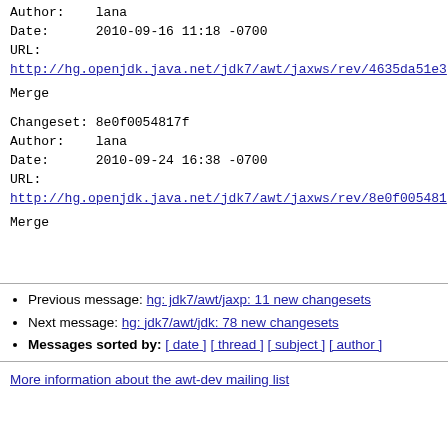Author:    lana
Date:      2010-09-16 11:18 -0700
URL:
http://hg.openjdk.java.net/jdk7/awt/jaxws/rev/4635da51e3...
Merge
Changeset: 8e0f0054817f
Author:    lana
Date:      2010-09-24 16:38 -0700
URL:
http://hg.openjdk.java.net/jdk7/awt/jaxws/rev/8e0f0054817...
Merge
Previous message: <AWT Dev> hg: jdk7/awt/jaxp: 11 new changesets
Next message: <AWT Dev> hg: jdk7/awt/jdk: 78 new changesets
Messages sorted by: [ date ] [ thread ] [ subject ] [ author ]
More information about the awt-dev mailing list